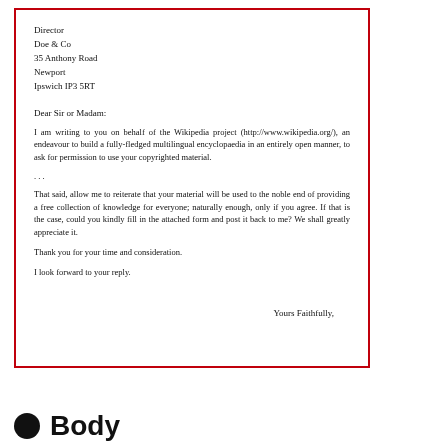Director
Doe & Co
35 Anthony Road
Newport
Ipswich IP3 5RT
Dear Sir or Madam:
I am writing to you on behalf of the Wikipedia project (http://www.wikipedia.org/), an endeavour to build a fully-fledged multilingual encyclopaedia in an entirely open manner, to ask for permission to use your copyrighted material.
…
That said, allow me to reiterate that your material will be used to the noble end of providing a free collection of knowledge for everyone; naturally enough, only if you agree. If that is the case, could you kindly fill in the attached form and post it back to me? We shall greatly appreciate it.
Thank you for your time and consideration.
I look forward to your reply.
Yours Faithfully,
Body